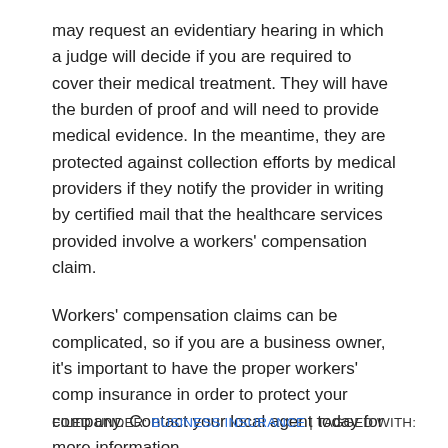may request an evidentiary hearing in which a judge will decide if you are required to cover their medical treatment. They will have the burden of proof and will need to provide medical evidence. In the meantime, they are protected against collection efforts by medical providers if they notify the provider in writing by certified mail that the healthcare services provided involve a workers' compensation claim.
Workers' compensation claims can be complicated, so if you are a business owner, it's important to have the proper workers' comp insurance in order to protect your company. Contact your local agent today for more information.
FILED UNDER: BUSINESS INSURANCE | TAGGED WITH: